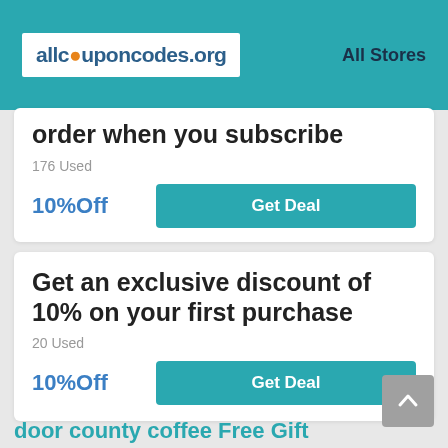allcouponcodes.org   All Stores
order when you subscribe
176 Used
10%Off   Get Deal
Get an exclusive discount of 10% on your first purchase
20 Used
10%Off   Get Deal
door county coffee Free Gift